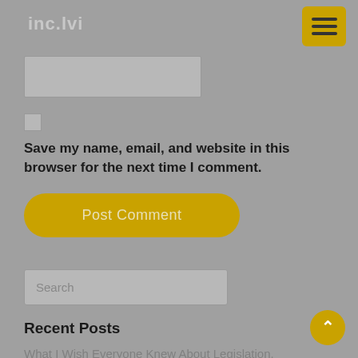inc.lvi
[Figure (other): Hamburger menu button (three horizontal lines) on gold/dark-yellow rounded square background]
[Figure (other): Text input box (empty, light gray)]
[Figure (other): Checkbox (unchecked, light gray)]
Save my name, email, and website in this browser for the next time I comment.
[Figure (other): Post Comment button (gold/yellow background, rounded, text: Post Comment)]
[Figure (other): Search input box with placeholder text 'Search']
Recent Posts
What I Wish Everyone Knew About Legislation.
[Figure (other): Scroll-to-top circular gold button with upward arrow]